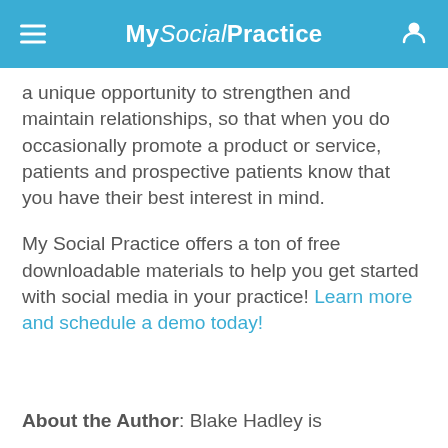My Social Practice
a unique opportunity to strengthen and maintain relationships, so that when you do occasionally promote a product or service, patients and prospective patients know that you have their best interest in mind.
My Social Practice offers a ton of free downloadable materials to help you get started with social media in your practice! Learn more and schedule a demo today!
About the Author: Blake Hadley is